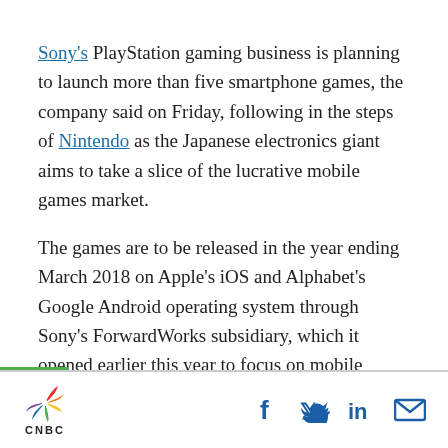Sony's PlayStation gaming business is planning to launch more than five smartphone games, the company said on Friday, following in the steps of Nintendo as the Japanese electronics giant aims to take a slice of the lucrative mobile games market.
The games are to be released in the year ending March 2018 on Apple's iOS and Alphabet's Google Android operating system through Sony's ForwardWorks subsidiary, which it opened earlier this year to focus on mobile gaming.
CNBC logo with social share icons: Facebook, Twitter, LinkedIn, Email